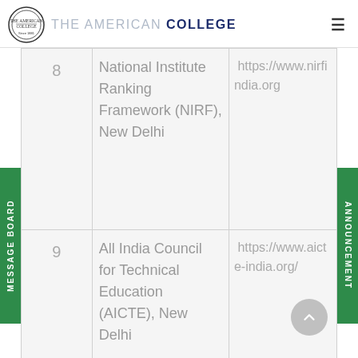THE AMERICAN COLLEGE
| # | Name | Link |
| --- | --- | --- |
| 8 | National Institute Ranking Framework (NIRF), New Delhi | https://www.nirfindia.org |
| 9 | All India Council for Technical Education (AICTE), New Delhi | https://www.aicte-india.org/ |